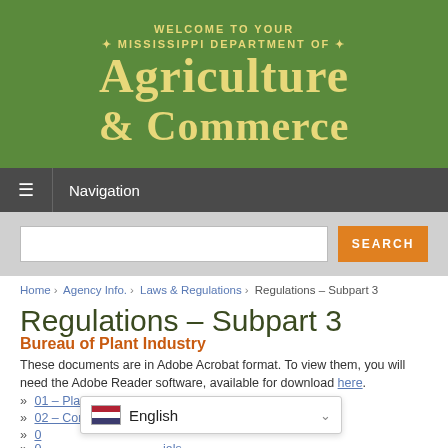[Figure (logo): Mississippi Department of Agriculture & Commerce banner with green background and gold text]
Navigation
SEARCH
Home › Agency Info. › Laws & Regulations › Regulations – Subpart 3
Regulations – Subpart 3
Bureau of Plant Industry
These documents are in Adobe Acrobat format. To view them, you will need the Adobe Reader software, available for download here.
» 01 – Plant Diseases, Insects and Weeds
» 02 – Commercial Feed
» 03 – [partially visible]
» 04 – [partially visible] ...ials